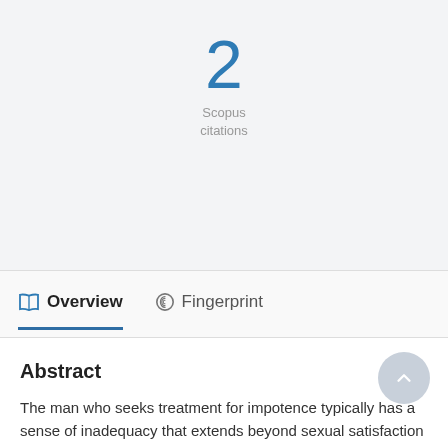2
Scopus
citations
Overview   Fingerprint
Abstract
The man who seeks treatment for impotence typically has a sense of inadequacy that extends beyond sexual satisfaction to